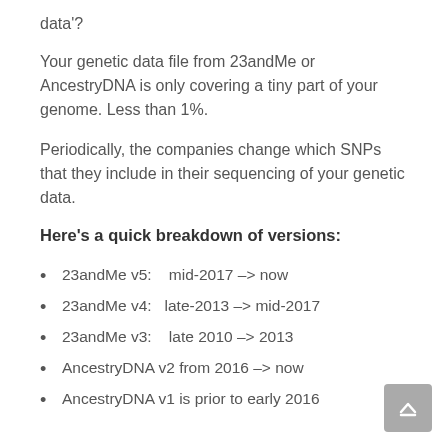data'?
Your genetic data file from 23andMe or AncestryDNA is only covering a tiny part of your genome. Less than 1%.
Periodically, the companies change which SNPs that they include in their sequencing of your genetic data.
Here's a quick breakdown of versions:
23andMe v5:   mid-2017 –> now
23andMe v4:   late-2013 –> mid-2017
23andMe v3:   late 2010 –> 2013
AncestryDNA v2 from 2016 –> now
AncestryDNA v1 is prior to early 2016